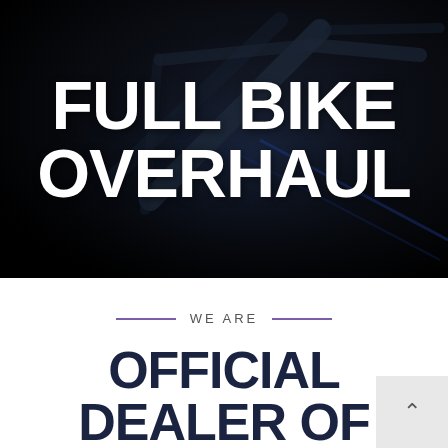[Figure (photo): Dark dramatic close-up photo of a bicycle frame and handlebars against a near-black background with subtle blue lighting, overlaid with bold white text reading FULL BIKE OVERHAUL]
FULL BIKE OVERHAUL
WE ARE
OFFICIAL DEALER OF